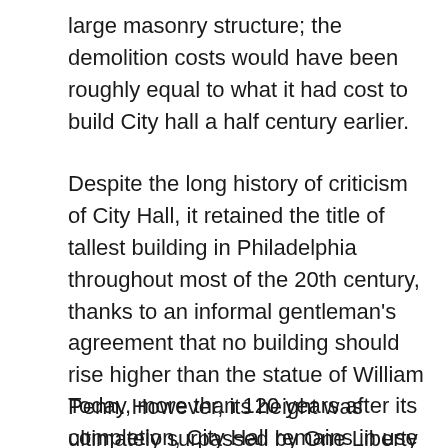large masonry structure; the demolition costs would have been roughly equal to what it had cost to build City hall a half century earlier.
Despite the long history of criticism of City Hall, it retained the title of tallest building in Philadelphia throughout most of the 20th century, thanks to an informal gentleman’s agreement that no building should rise higher than the statue of William Penn. However, its height was ultimately surpassed by One Liberty Place in 1987, and other skyscrapers soon followed. Because of this, City Hall is now only the 12th-highest in the city.
Today, more than 120 years after its completion, City Hall remains in use by Philadelphia’s municipal government. It is the largest city hall